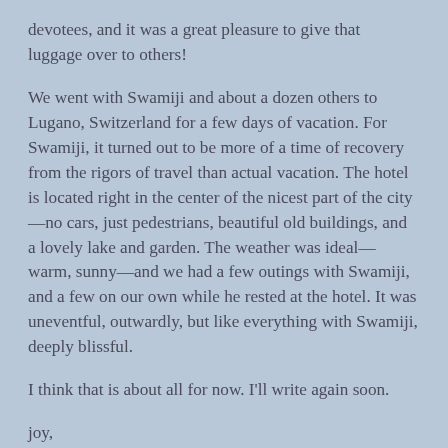devotees, and it was a great pleasure to give that luggage over to others!
We went with Swamiji and about a dozen others to Lugano, Switzerland for a few days of vacation. For Swamiji, it turned out to be more of a time of recovery from the rigors of travel than actual vacation. The hotel is located right in the center of the nicest part of the city—no cars, just pedestrians, beautiful old buildings, and a lovely lake and garden. The weather was ideal—warm, sunny—and we had a few outings with Swamiji, and a few on our own while he rested at the hotel. It was uneventful, outwardly, but like everything with Swamiji, deeply blissful.
I think that is about all for now. I'll write again soon.
joy,
asha